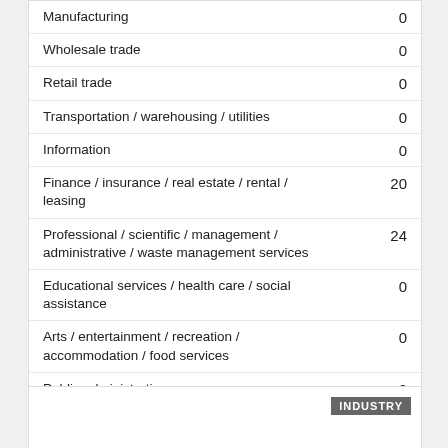| Industry | Value |
| --- | --- |
| Manufacturing | 0 |
| Wholesale trade | 0 |
| Retail trade | 0 |
| Transportation / warehousing / utilities | 0 |
| Information | 0 |
| Finance / insurance / real estate / rental / leasing | 20 |
| Professional / scientific / management / administrative / waste management services | 24 |
| Educational services / health care / social assistance | 0 |
| Arts / entertainment / recreation / accommodation / food services | 0 |
| Public administration | 0 |
| Other services | 0 |
INDUSTRY